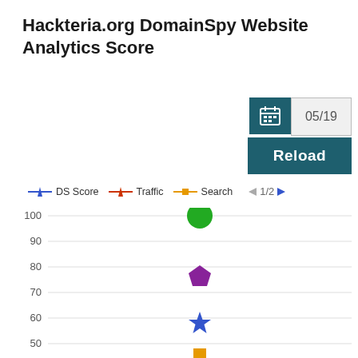Hackteria.org DomainSpy Website Analytics Score
[Figure (scatter-plot): Hackteria.org DomainSpy Website Analytics Score]